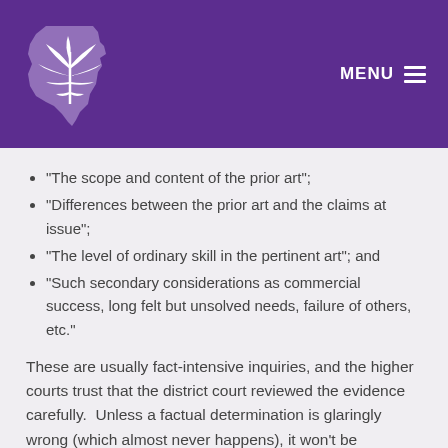[Figure (logo): Purple header bar with Texas state outline logo featuring a cannabis leaf, and MENU button with hamburger icon in top right]
“The scope and content of the prior art”;
“Differences between the prior art and the claims at issue”;
“The level of ordinary skill in the pertinent art”; and
“Such secondary considerations as commercial success, long felt but unsolved needs, failure of others, etc.”
These are usually fact-intensive inquiries, and the higher courts trust that the district court reviewed the evidence carefully.  Unless a factual determination is glaringly wrong (which almost never happens), it won’t be questioned.